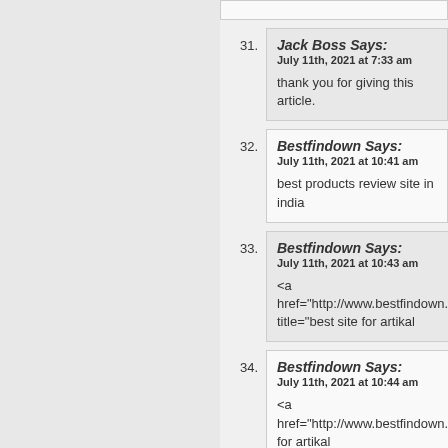31. Jack Boss Says: July 11th, 2021 at 7:33 am
thank you for giving this article.
32. Bestfindown Says: July 11th, 2021 at 10:41 am
best products review site in india
33. Bestfindown Says: July 11th, 2021 at 10:43 am
<a href="http://www.bestfindown.in/st title="best site for artikal
34. Bestfindown Says: July 11th, 2021 at 10:44 am
<a href="http://www.bestfindown.in for artikal